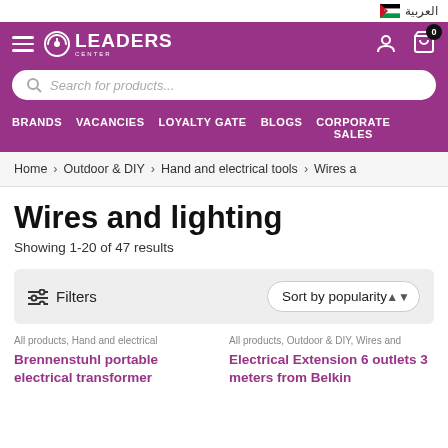العربية
[Figure (logo): Leaders Center logo with power icon and white text on purple background]
Search for products...
BRANDS   VACANCIES   LOYALTY GATE   BLOGS   CORPORATE SALES
Home > Outdoor & DIY > Hand and electrical tools > Wires a
Wires and lighting
Showing 1-20 of 47 results
Filters   Sort by popularity
All products, Hand and electrical
Brennenstuhl portable electrical transformer
All products, Outdoor & DIY, Wires and
Electrical Extension 6 outlets 3 meters from Belkin